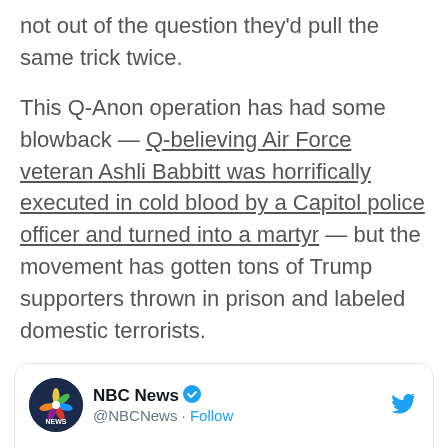not out of the question they'd pull the same trick twice.
This Q-Anon operation has had some blowback — Q-believing Air Force veteran Ashli Babbitt was horrifically executed in cold blood by a Capitol police officer and turned into a martyr — but the movement has gotten tons of Trump supporters thrown in prison and labeled domestic terrorists.
[Figure (screenshot): Embedded tweet from NBC News (@NBCNews) with verified badge and Follow button. Tweet text begins: 'President-elect Biden on whether Capitol rioters should be treated as domestic'. Twitter bird icon top right. Dark mode toggle bottom right.]